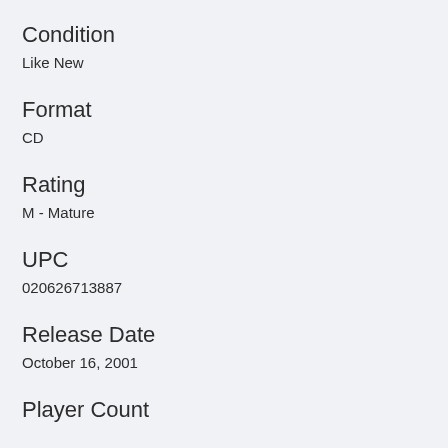Condition
Like New
Format
CD
Rating
M - Mature
UPC
020626713887
Release Date
October 16, 2001
Player Count